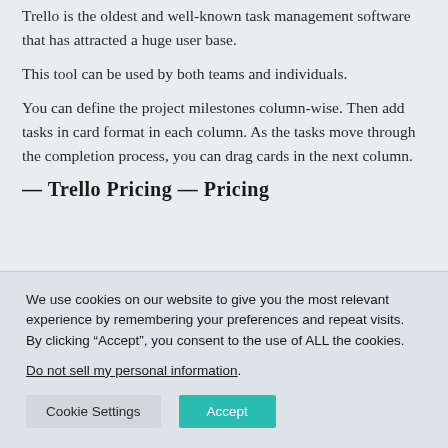Trello is the oldest and well-known task management software that has attracted a huge user base.
This tool can be used by both teams and individuals.
You can define the project milestones column-wise. Then add tasks in card format in each column. As the tasks move through the completion process, you can drag cards in the next column.
Trello Pricing — Pricing
We use cookies on our website to give you the most relevant experience by remembering your preferences and repeat visits. By clicking “Accept”, you consent to the use of ALL the cookies.
Do not sell my personal information.